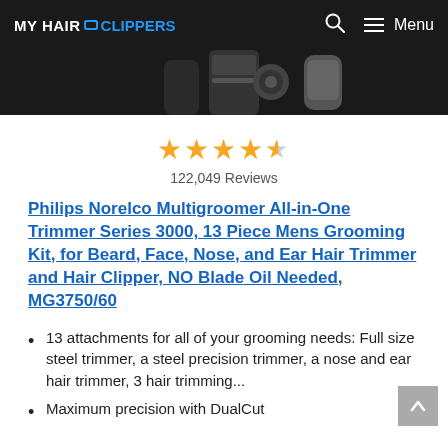MY HAIR CLIPPERS — Menu
[Figure (photo): Partial top view of Philips Norelco Multigroomer trimmer set against black background]
122,049 Reviews (4.5 stars)
Philips Norelco Multigroomer All-in-One Trimmer Series 3000, 13 Piece Mens Grooming Kit, for Beard, Face, Nose, and Ear Hair Trimmer and Hair Clipper, NO Blade Oil Needed, MG3750/60
13 attachments for all of your grooming needs: Full size steel trimmer, a steel precision trimmer, a nose and ear hair trimmer, 3 hair trimming...
Maximum precision with DualCut